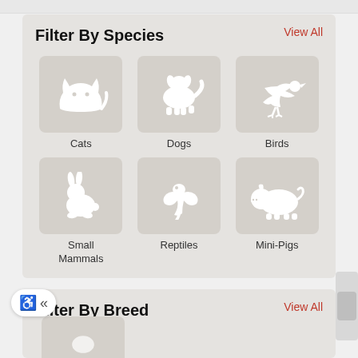Filter By Species
View All
[Figure (illustration): Six animal category icons in a 3x2 grid: Cats (cat silhouette), Dogs (dog silhouette), Birds (bird silhouette), Small Mammals (rabbit silhouette), Reptiles (lizard silhouette), Mini-Pigs (pig silhouette)]
Filter By Breed
View All